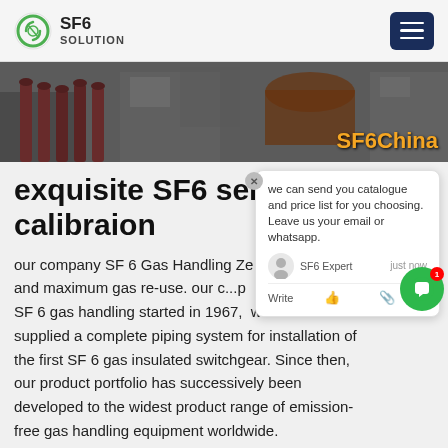SF6 SOLUTION
[Figure (photo): Hero banner showing industrial SF6 gas handling equipment and tools on a workbench with 'SF6China' text overlay]
exquisite SF6 service calibraion
our company SF 6 Gas Handling Ze and maximum gas re-use. our c...p SF 6 gas handling started in 1967, when we supplied a complete piping system for installation of the first SF 6 gas insulated switchgear. Since then, our product portfolio has successively been developed to the widest product range of emission-free gas handling equipment worldwide.
Get Price